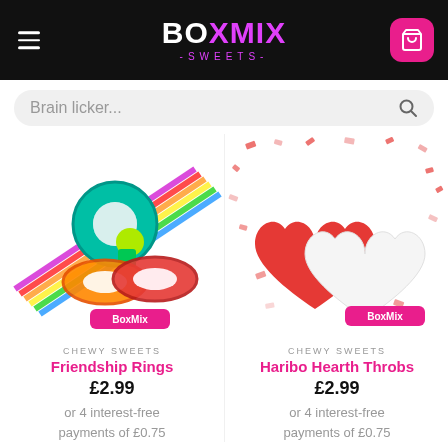[Figure (logo): BoxMix Sweets logo with hamburger menu and cart button on black header]
Brain licker...
[Figure (photo): Colorful candy friendship rings with rainbow candy sticks in the background]
CHEWY SWEETS
Friendship Rings
£2.99
or 4 interest-free payments of £0.75
[Figure (photo): Red and white heart-shaped Haribo sweets on a white background with red confetti]
CHEWY SWEETS
Haribo Hearth Throbs
£2.99
or 4 interest-free payments of £0.75